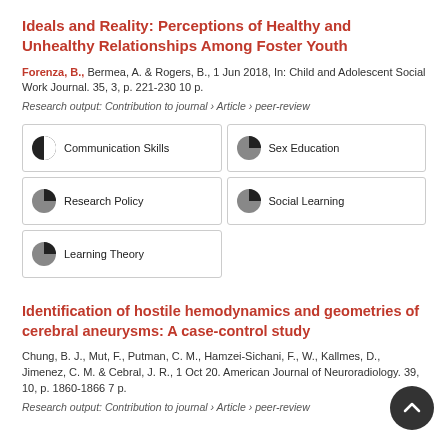Ideals and Reality: Perceptions of Healthy and Unhealthy Relationships Among Foster Youth
Forenza, B., Bermea, A. & Rogers, B., 1 Jun 2018, In: Child and Adolescent Social Work Journal. 35, 3, p. 221-230 10 p.
Research output: Contribution to journal › Article › peer-review
Communication Skills
Sex Education
Research Policy
Social Learning
Learning Theory
Identification of hostile hemodynamics and geometries of cerebral aneurysms: A case-control study
Chung, B. J., Mut, F., Putman, C. M., Hamzei-Sichani, F., W., Kallmes, D., Jimenez, C. M. & Cebral, J. R., 1 Oct 20. American Journal of Neuroradiology. 39, 10, p. 1860-1866 7 p.
Research output: Contribution to journal › Article › peer-review